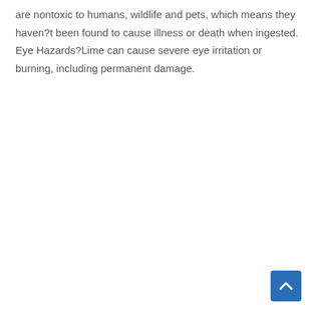are nontoxic to humans, wildlife and pets, which means they haven?t been found to cause illness or death when ingested. Eye Hazards?Lime can cause severe eye irritation or burning, including permanent damage.
[Figure (other): Back to top button — blue rounded square with white upward chevron arrow]